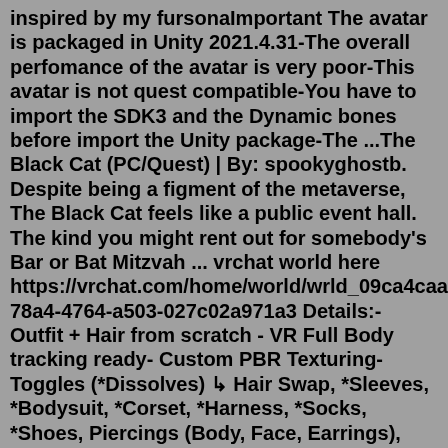inspired by my fursonaImportant The avatar is packaged in Unity 2021.4.31-The overall perfomance of the avatar is very poor-This avatar is not quest compatible-You have to import the SDK3 and the Dynamic bones before import the Unity package-The ...The Black Cat (PC/Quest) | By: spookyghostb. Despite being a figment of the metaverse, The Black Cat feels like a public event hall. The kind you might rent out for somebody's Bar or Bat Mitzvah ... vrchat world here https://vrchat.com/home/world/wrld_09ca4caa-78a4-4764-a503-027c02a971a3 Details:- Outfit + Hair from scratch - VR Full Body tracking ready- Custom PBR Texturing- Toggles (*Dissolves) ↳ Hair Swap, *Sleeves, *Bodysuit, *Corset, *Harness, *Socks, *Shoes, Piercings (Body, Face, Earrings), Rings, Jewellery, Ears, Tail- Sliders ↳ Skin tone, Ear + Tail Length, Heel Height, Saturation, Hue shifts, Boobs & Butt- Physbones Contact Receivers ↳ Head pat, Boop and Crotch ...To configure and upload avatars for VRChat you'll need Unity game engine. We'll also